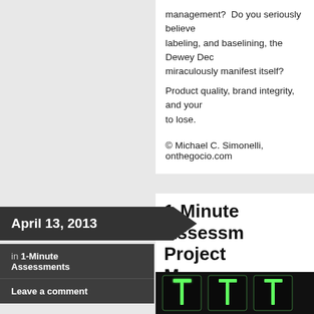management?  Do you seriously believe labeling, and baselining, the Dewey Dec miraculously manifest itself?
Product quality, brand integrity, and your to lose.
© Michael C. Simonelli, onthegocio.com
April 13, 2013
in 1-Minute Assessments
Leave a comment
1-Minute Assessm Project Managem
[Figure (photo): Dark photo showing glowing green digital timer digits on a dark background]